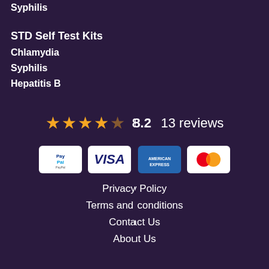Syphilis
STD Self Test Kits
Chlamydia
Syphilis
Hepatitis B
[Figure (other): Star rating: 4 filled stars and 1 empty star, score 8.2, 13 reviews]
[Figure (other): Payment method icons: PayPal, VISA, American Express, Mastercard]
Privacy Policy
Terms and conditions
Contact Us
About Us